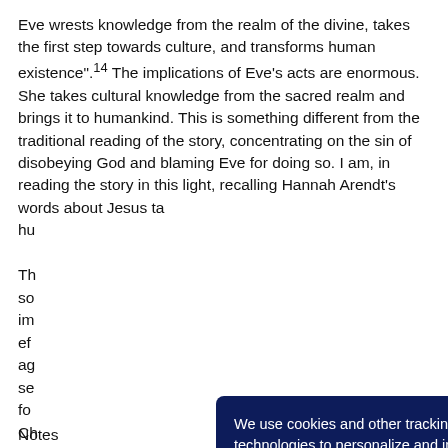Eve wrests knowledge from the realm of the divine, takes the first step towards culture, and transforms human existence".14 The implications of Eve's acts are enormous. She takes cultural knowledge from the sacred realm and brings it to humankind. This is something different from the traditional reading of the story, concentrating on the sin of disobeying God and blaming Eve for doing so. I am, in reading the story in this light, recalling Hannah Arendt's words about Jesus ta... hu... Th... so... im... ef... ag... se... fo... Ch...
[Figure (screenshot): Cookie consent popup overlay on dark navy background. Text reads: 'We use cookies and other tracking technologies to personalize and improve your experience. By continuing to use our website you consent to this. More info'. Checkboxes for 'necessary' (checked), 'statistics' (unchecked), 'marketing' (unchecked). Buttons: 'decline' and 'allow cookies'.]
Notes